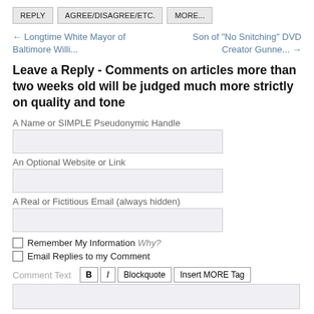REPLY
AGREE/DISAGREE/ETC.
MORE...
← Longtime White Mayor of Baltimore Willi...
Son of "No Snitching" DVD Creator Gunne... →
Leave a Reply - Comments on articles more than two weeks old will be judged much more strictly on quality and tone
A Name or SIMPLE Pseudonymic Handle
An Optional Website or Link
A Real or Fictitious Email (always hidden)
Remember My Information Why?
Email Replies to my Comment
Comment Text
B
I
Blockquote
Insert MORE Tag